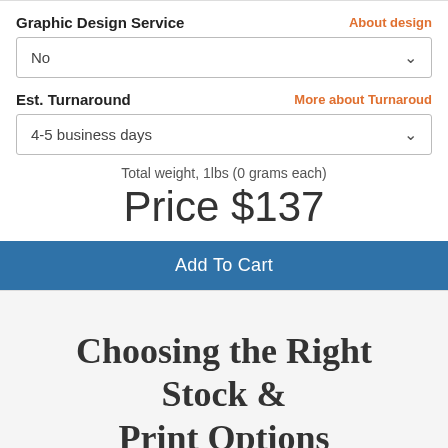Graphic Design Service
About design
No
Est. Turnaround
More about Turnaroud
4-5 business days
Total weight, 1lbs (0 grams each)
Price $137
Add To Cart
Choosing the Right Stock & Print Options